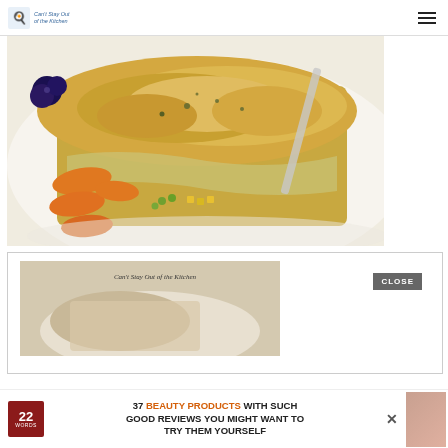Can't Stay Out of the Kitchen
[Figure (photo): Close-up photo of a chicken pot pie casserole slice on a white plate, with carrots, peas, corn, and a flaky golden biscuit topping, garnished with blueberries and more carrots on the side]
[Figure (photo): Partial second food photo with Can't Stay Out of the Kitchen watermark and a CLOSE button overlay]
37 BEAUTY PRODUCTS WITH SUCH GOOD REVIEWS YOU MIGHT WANT TO TRY THEM YOURSELF